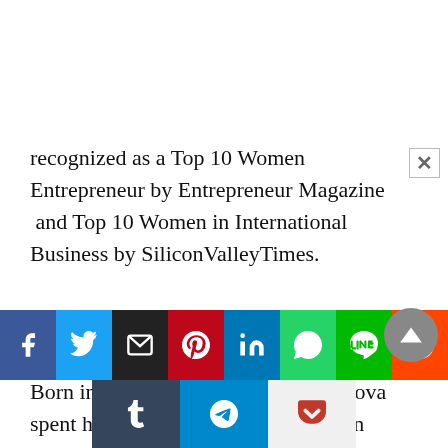recognized as a Top 10 Women Entrepreneur by Entrepreneur Magazine  and Top 10 Women in International Business by SiliconValleyTimes.
Young age and first career steps
Born in Lithuania, Vilnius, Inamedinova spent her early years in Asia – first, in Vietnam, and then, in Thailand, where her father worked in the real estate industry. Despite graduating with a Bachelor of Physics on…
[Figure (other): Social media share buttons bar: Facebook, Twitter, Email, Pinterest, LinkedIn, WhatsApp, Line, Reddit, Tumblr, Telegram, Pocket]